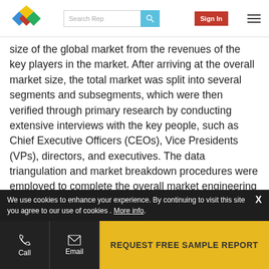MarketsandMarkets logo, Search Rep input, Sign In button, menu
size of the global market from the revenues of the key players in the market. After arriving at the overall market size, the total market was split into several segments and subsegments, which were then verified through primary research by conducting extensive interviews with the key people, such as Chief Executive Officers (CEOs), Vice Presidents (VPs), directors, and executives. The data triangulation and market breakdown procedures were employed to complete the overall market engineering process and arrive at the exact statistics for all the segments and subsegments. The breakdown of the primary profiles has been depicted in the figure below:
We use cookies to enhance your experience. By continuing to visit this site you agree to our use of cookies . More info. X | Call | Email | REQUEST FREE SAMPLE REPORT